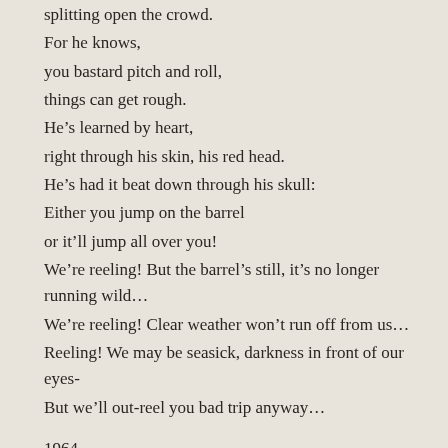splitting open the crowd.
For he knows,
you bastard pitch and roll,
things can get rough.
He’s learned by heart,
right through his skin, his red head.
He’s had it beat down through his skull:
Either you jump on the barrel
or it’ll jump all over you!
We’re reeling! But the barrel’s still, it’s no longer running wild…
We’re reeling! Clear weather won’t run off from us…
Reeling! We may be seasick, darkness in front of our eyes-
But we’ll out-reel you bad trip anyway…
1964